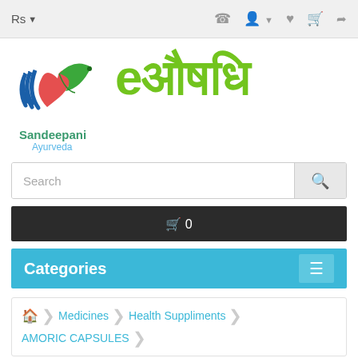Rs ▼  [phone] [user▼] [heart] [cart] [share]
[Figure (logo): eAushadi (eOushadh) logo with Sandeepani Ayurveda brand — stylized heart with leaf icon in blue/red/green, large green Hindi text 'eऔषधि']
Search
🛒 0
Categories
🏠  Medicines  Health Suppliments  AMORIC CAPSULES